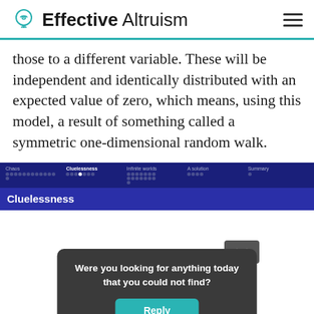Effective Altruism
those to a different variable. These will be independent and identically distributed with an expected value of zero, which means, using this model, a result of something called a symmetric one-dimensional random walk.
[Figure (screenshot): Navigation bar showing sections: Chaos, Cluelessness (active), Infinite worlds, A solution, Summary — with progress dots under each section. A blue bar below shows 'Cluelessness' as the current section heading.]
[Figure (screenshot): Dark popup dialog asking 'Were you looking for anything today that you could not find?' with a teal 'Reply' button.]